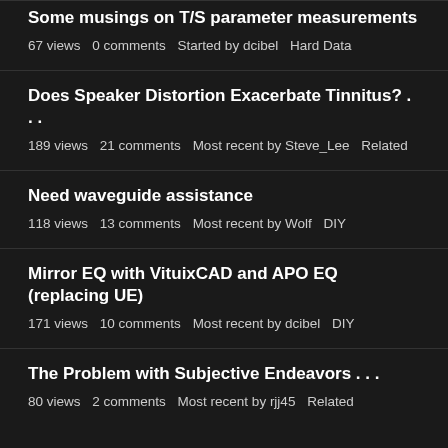Some musings on T/S parameter measurements
67 views · 0 comments · Started by dcibel · Hard Data
Does Speaker Distortion Exacerbate Tinnitus? . . .
189 views · 21 comments · Most recent by Steve_Lee · Related
Need waveguide assistance
118 views · 13 comments · Most recent by Wolf · DIY
Mirror EQ with VituixCAD and APO EQ (replacing UE)
171 views · 10 comments · Most recent by dcibel · DIY
The Problem with Subjective Endeavors . . .
80 views · 2 comments · Most recent by rjj45 · Related